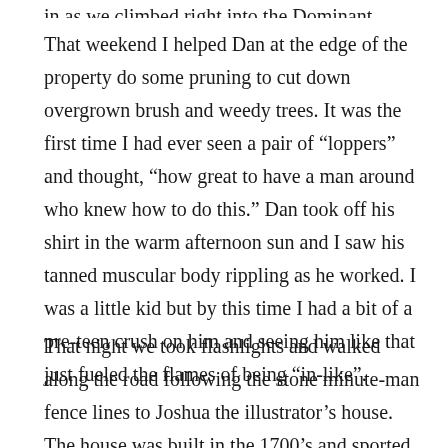in as we climbed right into the Dominant.
That weekend I helped Dan at the edge of the property do some pruning to cut down overgrown brush and weedy trees. It was the first time I had ever seen a pair of “loppers” and thought, “how great to have a man around who knew how to do this.” Dan took off his shirt in the warm afternoon sun and I saw his tanned muscular body rippling as he worked. I was a little kid but by this time I had a bit of a pre-teen crush on him and seeing him like that just fueled the flames of being “in-like”.
That night we took flashlights and walked along the road following the stone minute-man fence lines to Joshua the illustrator’s house. The house was built in the 1700’s and sported low ceilings, a wood-burning stove